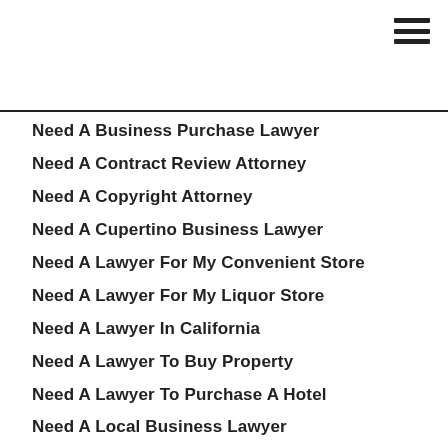Need A Business Purchase Lawyer
Need A Contract Review Attorney
Need A Copyright Attorney
Need A Cupertino Business Lawyer
Need A Lawyer For My Convenient Store
Need A Lawyer For My Liquor Store
Need A Lawyer In California
Need A Lawyer To Buy Property
Need A Lawyer To Purchase A Hotel
Need A Local Business Lawyer
Need A Local Contracts Lawyer
Need A Los Gatos Business Lawyer
Need An Estate Planning Lawyer
Need A Partnership Lawyer
Need Arbitration Agreement Lawyer
Need Arbitration Lawyer
Need A San Jose Business Attorney